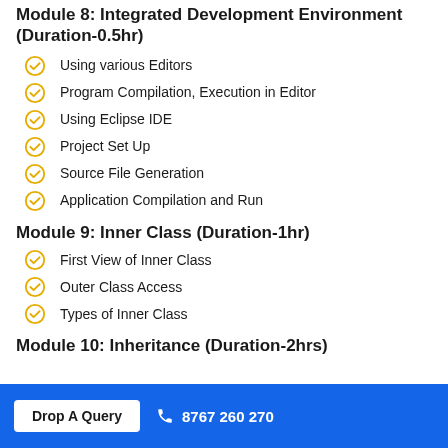Module 8: Integrated Development Environment (Duration-0.5hr)
Using various Editors
Program Compilation, Execution in Editor
Using Eclipse IDE
Project Set Up
Source File Generation
Application Compilation and Run
Module 9: Inner Class (Duration-1hr)
First View of Inner Class
Outer Class Access
Types of Inner Class
Module 10: Inheritance (Duration-2hrs)
Drop A Query  8767 260 270